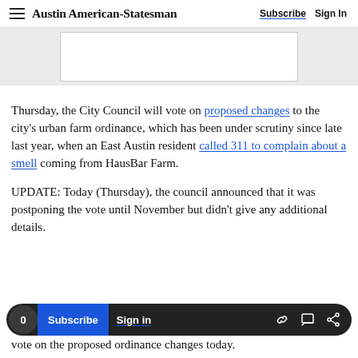Austin American-Statesman   Subscribe   Sign In
[Figure (other): Advertisement placeholder box with light gray background]
Thursday, the City Council will vote on proposed changes to the city's urban farm ordinance, which has been under scrutiny since late last year, when an East Austin resident called 311 to complain about a smell coming from HausBar Farm.
UPDATE: Today (Thursday), the council announced that it was postponing the vote until November but didn't give any additional details.
vote on the proposed ordinance changes today.